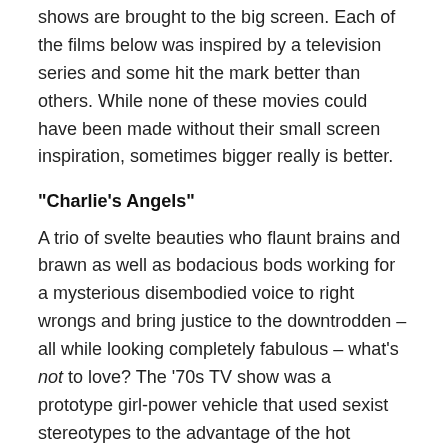shows are brought to the big screen. Each of the films below was inspired by a television series and some hit the mark better than others. While none of these movies could have been made without their small screen inspiration, sometimes bigger really is better.
"Charlie's Angels"
A trio of svelte beauties who flaunt brains and brawn as well as bodacious bods working for a mysterious disembodied voice to right wrongs and bring justice to the downtrodden – all while looking completely fabulous – what's not to love? The '70s TV show was a prototype girl-power vehicle that used sexist stereotypes to the advantage of the hot women being stereotyped. The 2000 reboot of this classic franchise that featured the incomparable Farrah Fawcett and sublime Jaclyn Smith was the perfect campy homage to bring this sexy, silly